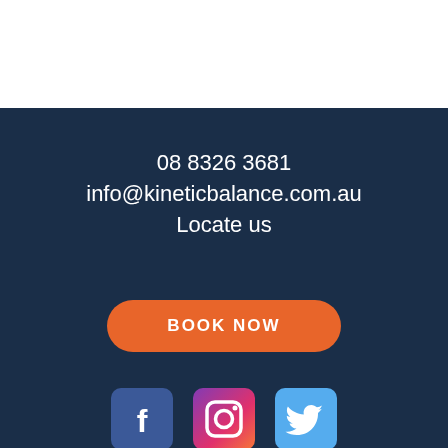08 8326 3681
info@kineticbalance.com.au
Locate us
[Figure (other): Orange BOOK NOW button with rounded corners on dark navy background]
[Figure (other): Three social media icons: Facebook (blue), Instagram (pink/purple gradient), Twitter (light blue), each with rounded square background]